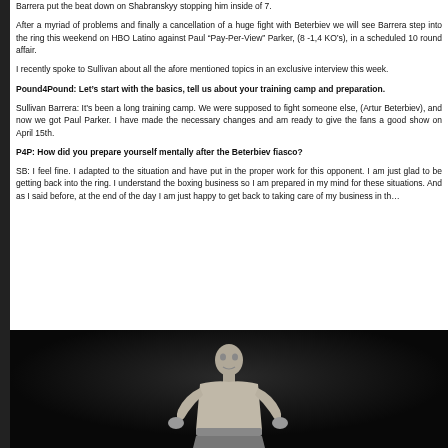Barrera put the beat down on Shabranskyy stopping him inside of 7.
After a myriad of problems and finally a cancellation of a huge fight with Beterbiev we will see Barrera step into the ring this weekend on HBO Latino against Paul “Pay-Per-View” Parker, (8 -1,4 KO’s), in a scheduled 10 round affair.
I recently spoke to Sullivan about all the afore mentioned topics in an exclusive interview this week.
Pound4Pound: Let’s start with the basics, tell us about your training camp and preparation.
Sullivan Barrera: It’s been a long training camp. We were supposed to fight someone else, (Artur Beterbiev), and now we got Paul Parker. I have made the necessary changes and am ready to give the fans a good show on April 15th.
P4P: How did you prepare yourself mentally after the Beterbiev fiasco?
SB: I feel fine. I adapted to the situation and have put in the proper work for this opponent. I am just glad to be getting back into the ring. I understand the boxing business so I am prepared in my mind for these situations. And as I said before, at the end of the day I am just happy to get back to taking care of my business in th…
[Figure (photo): Black and white photo of boxer Sullivan Barrera in ring attire against a dark background]